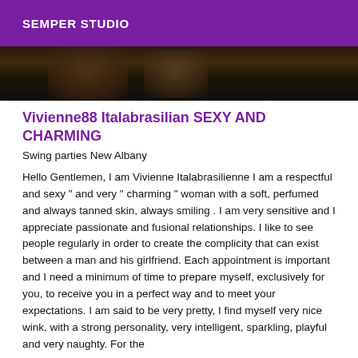SEMPER STUDIO
[Figure (photo): Partial photo showing a dark scene with wooden furniture or structure, cropped at top of page]
Vivienne88 Italabrasilian SEXY AND CHARMING
Swing parties New Albany
Hello Gentlemen, I am Vivienne Italabrasilienne I am a respectful and sexy " and very " charming " woman with a soft, perfumed and always tanned skin, always smiling . I am very sensitive and I appreciate passionate and fusional relationships. I like to see people regularly in order to create the complicity that can exist between a man and his girlfriend. Each appointment is important and I need a minimum of time to prepare myself, exclusively for you, to receive you in a perfect way and to meet your expectations. I am said to be very pretty, I find myself very nice wink, with a strong personality, very intelligent, sparkling, playful and very naughty. For the